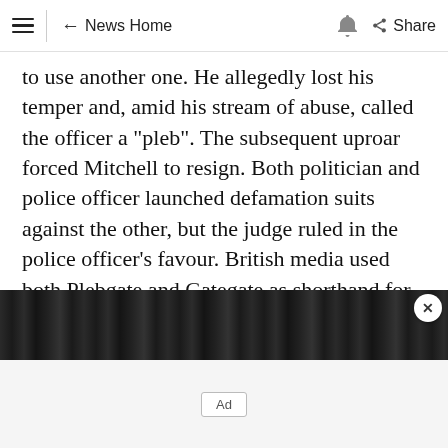≡ | ← News Home 🔔 Share
to use another one. He allegedly lost his temper and, amid his stream of abuse, called the officer a "pleb". The subsequent uproar forced Mitchell to resign. Both politician and police officer launched defamation suits against the other, but the judge ruled in the police officer's favour. British media used both Plebgate and Gategate as shorthand for the affair.
[Figure (other): Dark advertisement banner with close button (X)]
Ad